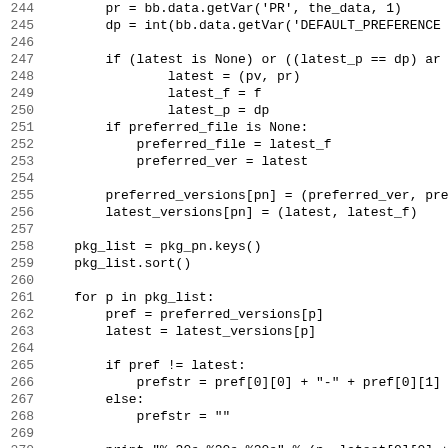Code listing lines 244-275 showing Python source code for package version selection logic